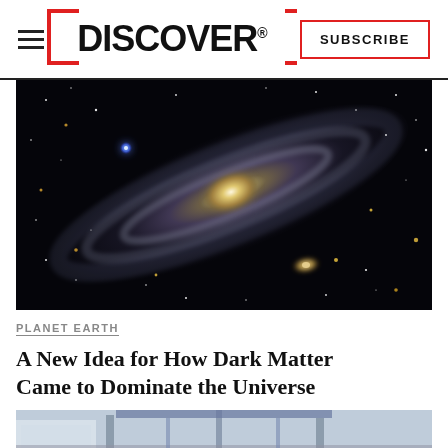DISCOVER — SUBSCRIBE
[Figure (photo): Andromeda galaxy against a dark starfield, showing spiral arms with blue and white stars and a bright yellow core, with a smaller companion galaxy below.]
PLANET EARTH
A New Idea for How Dark Matter Came to Dominate the Universe
[Figure (photo): Aerial or elevated view of a large industrial or scientific facility interior, showing machinery, pipes, and workers in orange vests on a blue circular structure.]